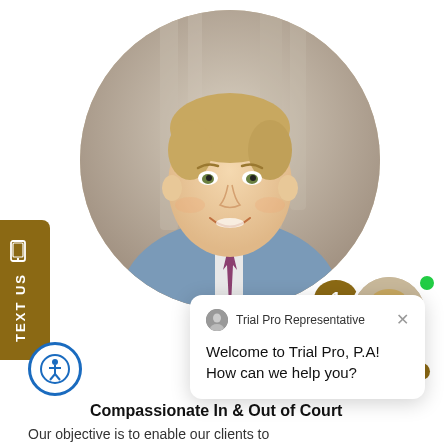[Figure (photo): Circular portrait photo of a smiling blond man in a blue suit with purple tie, professional attorney headshot against a neutral background]
TEXT US
[Figure (screenshot): Chat popup widget with Trial Pro Representative avatar and message: Welcome to Trial Pro, P.A! How can we help you?]
Trial Pro Representative
Welcome to Trial Pro, P.A! How can we help you?
[Figure (photo): Small circular thumbnail of another attorney with a gold speech badge showing '1' notification and a green online dot, labeled 'Online Agent']
Compassionate In & Out of Court
Our objective is to enable our clients to